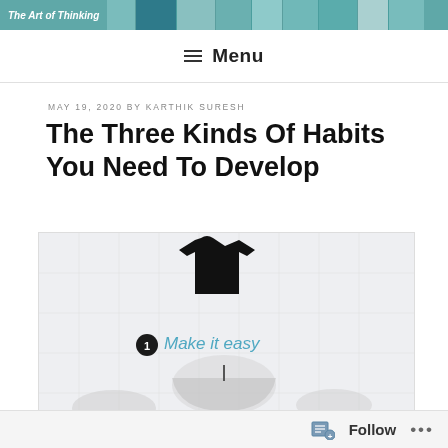The Art of Thinking
≡ Menu
MAY 19, 2020 BY KARTHIK SURESH
The Three Kinds Of Habits You Need To Develop
[Figure (illustration): Infographic showing a black t-shirt above a circular figure with a badge labeled '1' and italic teal text reading 'Make it easy']
Follow